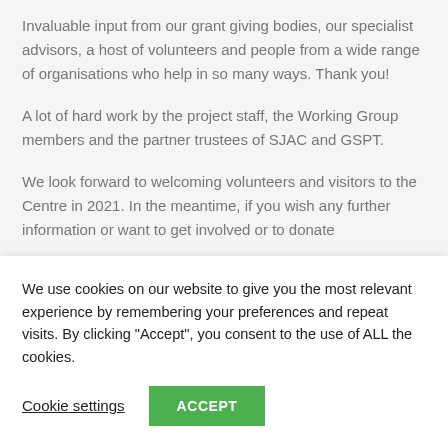Invaluable input from our grant giving bodies, our specialist advisors, a host of volunteers and people from a wide range of organisations who help in so many ways. Thank you!
A lot of hard work by the project staff, the Working Group members and the partner trustees of SJAC and GSPT.
We look forward to welcoming volunteers and visitors to the Centre in 2021. In the meantime, if you wish any further information or want to get involved or to donate
We use cookies on our website to give you the most relevant experience by remembering your preferences and repeat visits. By clicking “Accept”, you consent to the use of ALL the cookies.
Cookie settings
ACCEPT